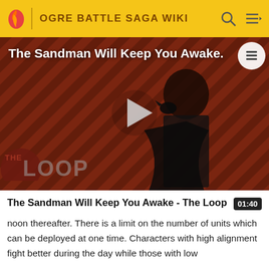OGRE BATTLE SAGA WIKI
[Figure (screenshot): Video thumbnail showing 'The Sandman Will Keep You Awake - The Loop' with a dark figure and diagonal striped background, play button in center, THE LOOP logo bottom left]
The Sandman Will Keep You Awake - The Loop  01:40
noon thereafter. There is a limit on the number of units which can be deployed at one time. Characters with high alignment fight better during the day while those with low